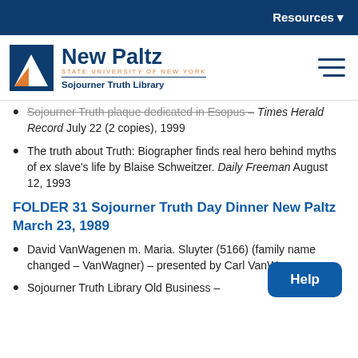Resources
[Figure (logo): New Paltz State University of New York Sojourner Truth Library logo with navy and orange mountain/arch mark]
Sojourner Truth plaque dedicated in Esopus – Times Herald Record July 22 (2 copies), 1999
The truth about Truth: Biographer finds real hero behind myths of ex slave's life by Blaise Schweitzer. Daily Freeman August 12, 1993
FOLDER 31 Sojourner Truth Day Dinner New Paltz March 23, 1989
David VanWagenen m. Maria. Sluyter (5166) (family name changed – VanWagner) – presented by Carl VanWagenen
Sojourner Truth Library Old Business – -Budget